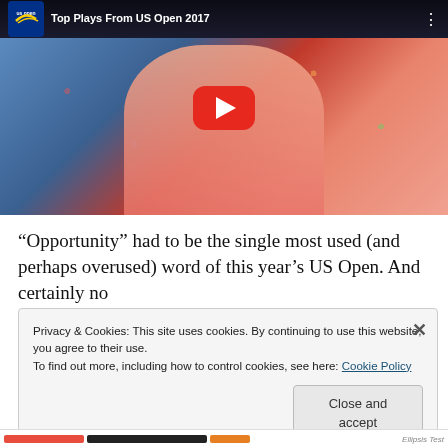[Figure (screenshot): YouTube video thumbnail titled 'Top Plays From US Open 2017' showing a tennis player in pink shirt holding a trophy with confetti, US Open logo in top-left corner, YouTube play button overlay in center, three-dot menu in top-right]
“Opportunity” had to be the single most used (and perhaps overused) word of this year’s US Open. And certainly no
Privacy & Cookies: This site uses cookies. By continuing to use this website, you agree to their use.
To find out more, including how to control cookies, see here: Cookie Policy
Close and accept